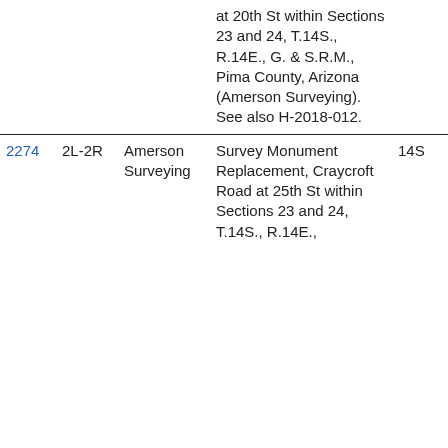| ID | Num | Name | Description | Code | Extra |
| --- | --- | --- | --- | --- | --- |
|  |  |  | at 20th St within Sections 23 and 24, T.14S., R.14E., G. & S.R.M., Pima County, Arizona (Amerson Surveying). See also H-2018-012. |  |  |
| 2274 | 2L-2R | Amerson Surveying | Survey Monument Replacement, Craycroft Road at 25th St within Sections 23 and 24, T.14S., R.14E., | 14S |  |